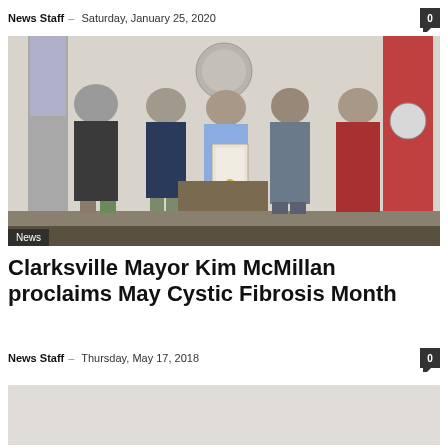News Staff — Saturday, January 25, 2020
[Figure (photo): Group photo of five people standing in front of a wall with an official seal and flags. Center person holds a framed proclamation document.]
News
Clarksville Mayor Kim McMillan proclaims May Cystic Fibrosis Month
News Staff — Thursday, May 17, 2018